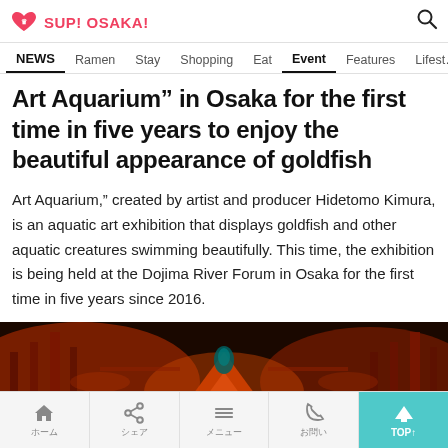SUP! OSAKA!
NEWS  Ramen  Stay  Shopping  Eat  Event  Features  Lifestyl
Art Aquarium” in Osaka for the first time in five years to enjoy the beautiful appearance of goldfish
Art Aquarium,” created by artist and producer Hidetomo Kimura, is an aquatic art exhibition that displays goldfish and other aquatic creatures swimming beautifully. This time, the exhibition is being held at the Dojima River Forum in Osaka for the first time in five years since 2016.
[Figure (photo): Dark-lit aquarium exhibition showing goldfish and decorative structures illuminated in red and orange light, with a teal ornament visible in the center.]
TOP↑